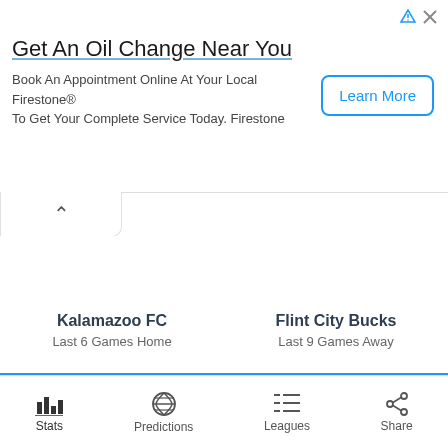[Figure (infographic): Advertisement banner for Firestone oil change service with Learn More button]
Get An Oil Change Near You
Book An Appointment Online At Your Local Firestone® To Get Your Complete Service Today. Firestone
Kalamazoo FC
Last 6 Games Home
Flint City Bucks
Last 9 Games Away
Stats | Predictions | Leagues | Share